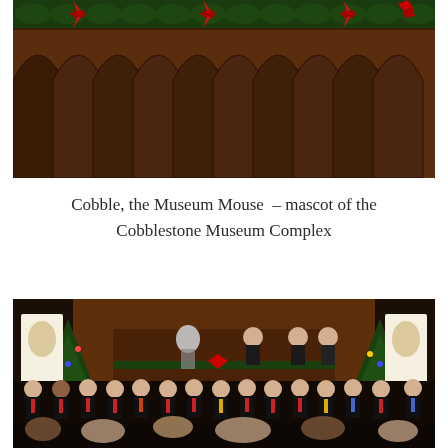[Figure (photo): Partial view of a dark wooden Gothic arch panel decorated with red ribbons and green garland along the top edge.]
Cobble, the Museum Mouse – mascot of the Cobblestone Museum Complex
[Figure (photo): A Christmas concert scene inside a church with Gothic wooden furniture. A choir of young men dressed in black with colored ties stands in front of a decorated pulpit area flanked by Christmas trees and religious banners. Audience members are visible in the foreground.]